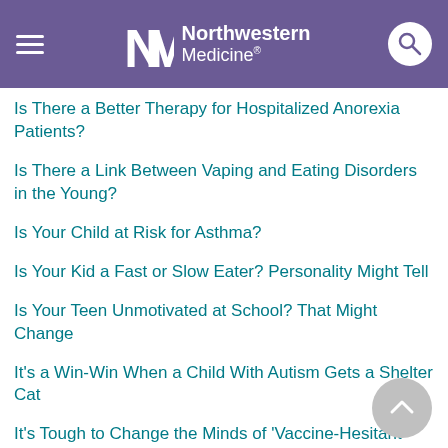Northwestern Medicine
Is There a Better Therapy for Hospitalized Anorexia Patients?
Is There a Link Between Vaping and Eating Disorders in the Young?
Is Your Child at Risk for Asthma?
Is Your Kid a Fast or Slow Eater? Personality Might Tell
Is Your Teen Unmotivated at School? That Might Change
It's a Win-Win When a Child With Autism Gets a Shelter Cat
It's Tough to Change the Minds of 'Vaccine-Hesitant' Parents, Study Finds